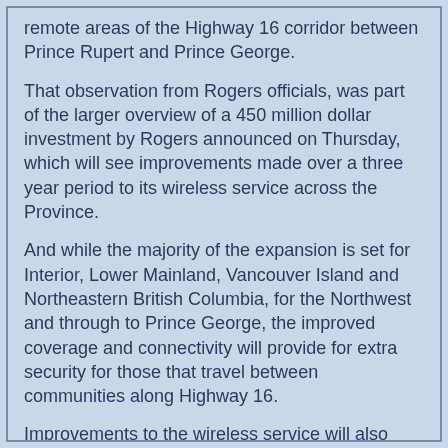remote areas of the Highway 16 corridor between Prince Rupert and Prince George.
That observation from Rogers officials, was part of the larger overview of a 450 million dollar investment by Rogers announced on Thursday, which will see improvements made over a three year period to its wireless service across the Province.
And while the majority of the expansion is set for Interior, Lower Mainland, Vancouver Island and Northeastern British Columbia, for the Northwest and through to Prince George, the improved coverage and connectivity will provide for extra security for those that travel between communities along Highway 16.
Improvements to the wireless service will also provide for better results for current residents as well as  the growing number of business people and travellers to Northern British Columbia that utilize smart phones, tablets and other electronic devices as part of their travels.